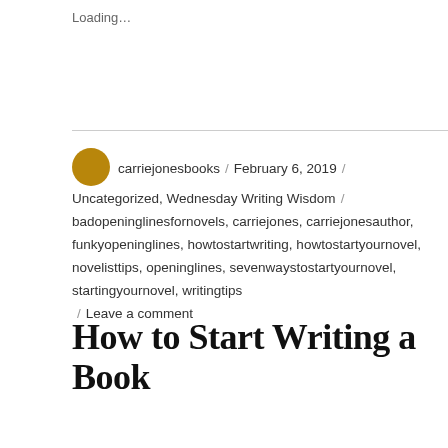Loading...
carriejonesbooks / February 6, 2019 / Uncategorized, Wednesday Writing Wisdom / badopeninglinesfornovels, carriejones, carriejonesauthor, funkyopeninglines, howtostartwriting, howtostartyournovel, novelisttips, openinglines, sevenwaystostartyournovel, startingyournovel, writingtips / Leave a comment
How to Start Writing a Book
[Figure (photo): Photo of a cat in front of a bookshelf with colorful items, and an adjacent graphic tile with text 'WRITING TIP WEDNESDAY. HOW TO START WRITING']